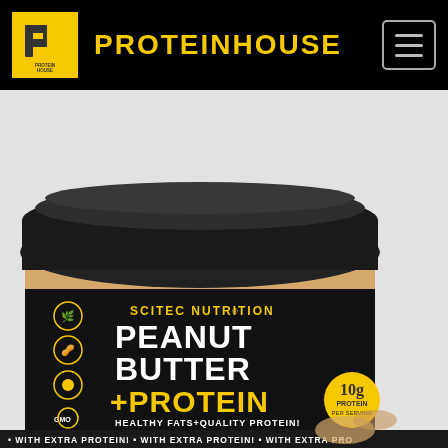PROTEINHOUSE
[Figure (photo): Scitec Nutrition Peanut Butter + Protein 500g jar with black lid and black label showing PEANUT BUTTER +PROTEIN, HEALTHY FATS+QUALITY PROTEIN!, 10g protein, NET WT 500g, with peanut imagery and icons on left side. Product sits on light grey background.]